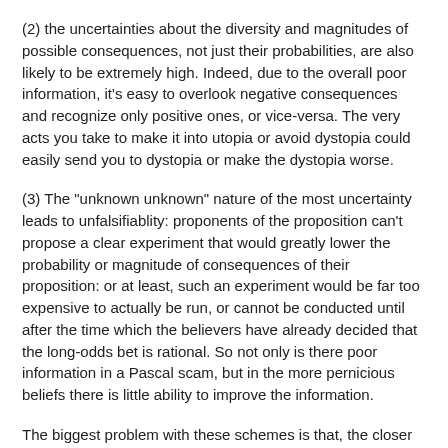(2) the uncertainties about the diversity and magnitudes of possible consequences, not just their probabilities, are also likely to be extremely high. Indeed, due to the overall poor information, it's easy to overlook negative consequences and recognize only positive ones, or vice-versa. The very acts you take to make it into utopia or avoid dystopia could easily send you to dystopia or make the dystopia worse.
(3) The "unknown unknown" nature of the most uncertainty leads to unfalsifiablity: proponents of the proposition can't propose a clear experiment that would greatly lower the probability or magnitude of consequences of their proposition: or at least, such an experiment would be far too expensive to actually be run, or cannot be conducted until after the time which the believers have already decided that the long-odds bet is rational. So not only is there poor information in a Pascal scam, but in the more pernicious beliefs there is little ability to improve the information.
The biggest problem with these schemes is that, the closer to infinitesimal probability, and thus usually to infinitesimal quality, a quantity of evidence arguments, the closer to infinit